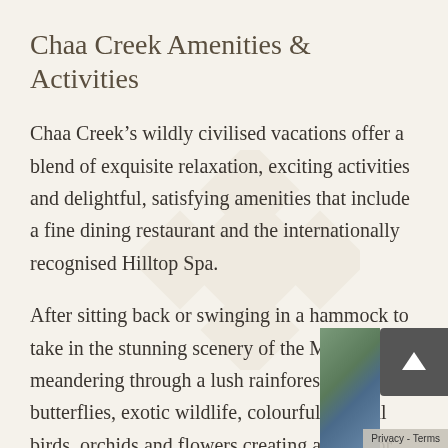Chaa Creek Amenities & Activities
Chaa Creek’s wildly civilised vacations offer a blend of exquisite relaxation, exciting activities and delightful, satisfying amenities that include a fine dining restaurant and the internationally recognised Hilltop Spa.
After sitting back or swinging in a hammock to take in the stunning scenery of the Macal River meandering through a lush rainforest with butterflies, exotic wildlife, colourful tropical birds, orchids and flowers creating a feast for the senses, we invite you to let our activities and
[Figure (other): Watermark diamond/cross pattern in light beige/tan color overlaid on the page background]
[Figure (screenshot): Scroll-to-top button (dark grey rounded rectangle with upward arrow) and partial Google Maps thumbnail, with Privacy - Terms label at bottom right]